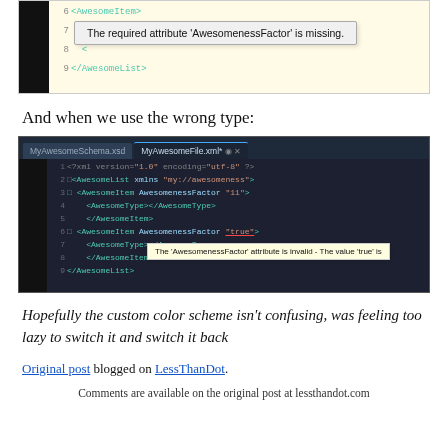[Figure (screenshot): Visual Studio XML editor screenshot showing missing required attribute 'AwesomenessFactor' tooltip on AwesomeItem element, with AwesomeList closing tag on line 9]
And when we use the wrong type:
[Figure (screenshot): Visual Studio XML editor screenshot with MyAwesomeSchema.xsd and MyAwesomeFile.xml tabs, showing XML code with AwesomenessFactor attributes and a tooltip: 'The AwesomenessFactor attribute is invalid - The value true is']
Hopefully the custom color scheme isn't confusing, was feeling too lazy to switch it and switch it back
Original post blogged on LessThanDot.
Comments are available on the original post at lessthandot.com